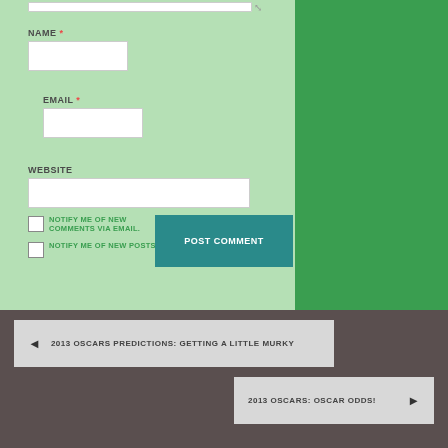NAME *
EMAIL *
WEBSITE
NOTIFY ME OF NEW COMMENTS VIA EMAIL.
NOTIFY ME OF NEW POSTS VIA EMAIL.
POST COMMENT
◄  2013 OSCARS PREDICTIONS: GETTING A LITTLE MURKY
2013 OSCARS: OSCAR ODDS!  ►